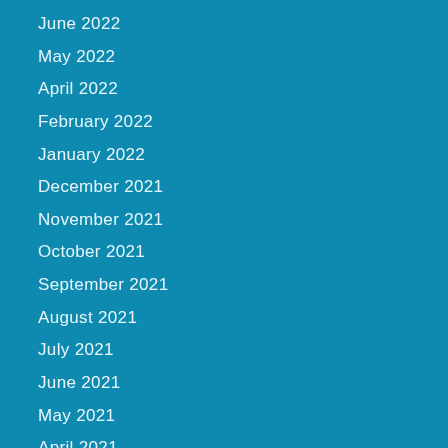June 2022
May 2022
April 2022
February 2022
January 2022
December 2021
November 2021
October 2021
September 2021
August 2021
July 2021
June 2021
May 2021
April 2021
March 2021
February 2021
January 2021